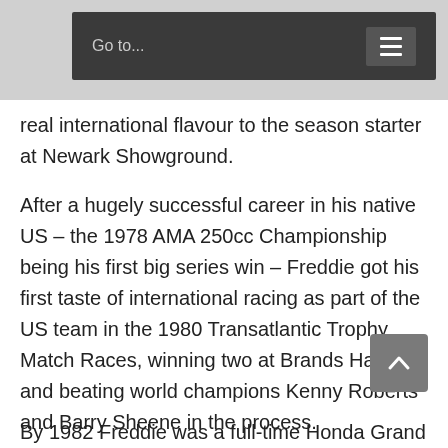Go to...
real international flavour to the season starter at Newark Showground.
After a hugely successful career in his native US – the 1978 AMA 250cc Championship being his first big series win – Freddie got his first taste of international racing as part of the US team in the 1980 Transatlantic Trophy Match Races, winning two at Brands Hatch and beating world champions Kenny Roberts and Barry Sheene in the process.
By 1982 Freddie was a full-time Honda Grand